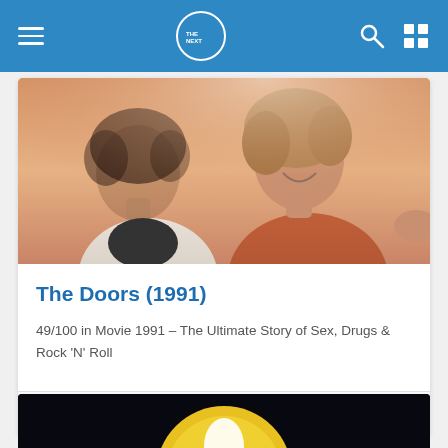THE NEXT app – navigation header with hamburger menu, logo, search and grid icons
[Figure (photo): Movie still from The Doors (1991) showing two people with curly hair, one in white shirt and one in rust/orange, laughing outdoors in warm sunlight]
The Doors (1991)
49/100 in Movie 1991 – The Ultimate Story of Sex, Drugs & Rock 'N' Roll
DRAMA MOVIE
6
[Figure (photo): Partial view of a second movie card showing a dark scene with a large yellow circular shape (moon or planet) and a white figure – movie thumbnail cut off at bottom of page]